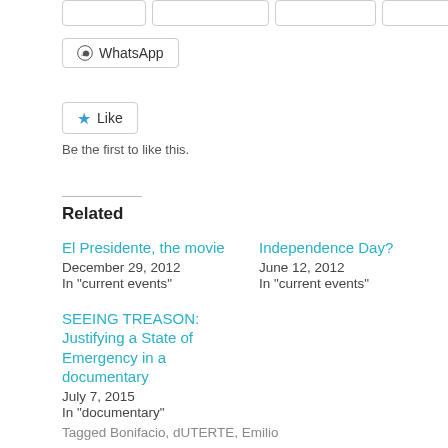[Figure (other): Social share buttons row (partial, clipped at top)]
[Figure (other): WhatsApp share button]
[Figure (other): Like button with star icon]
Be the first to like this.
Related
El Presidente, the movie
December 29, 2012
In "current events"
Independence Day?
June 12, 2012
In "current events"
SEEING TREASON: Justifying a State of Emergency in a documentary
July 7, 2015
In "documentary"
Tagged Bonifacio, dUTERTE, Emilio